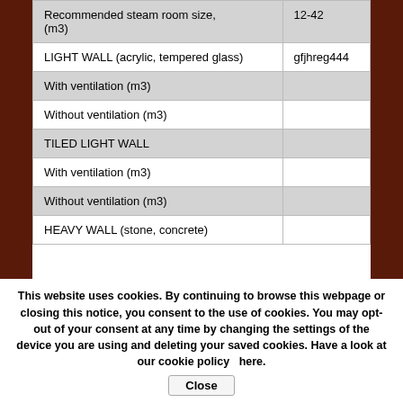|  |  |
| --- | --- |
| Recommended steam room size, (m3) | 12-42 |
| LIGHT WALL (acrylic, tempered glass) | gfjhreg444 |
| With ventilation (m3) |  |
| Without ventilation (m3) |  |
| TILED LIGHT WALL |  |
| With ventilation (m3) |  |
| Without ventilation (m3) |  |
| HEAVY WALL (stone, concrete) |  |
This website uses cookies. By continuing to browse this webpage or closing this notice, you consent to the use of cookies. You may opt-out of your consent at any time by changing the settings of the device you are using and deleting your saved cookies. Have a look at our cookie policy  here.
Close